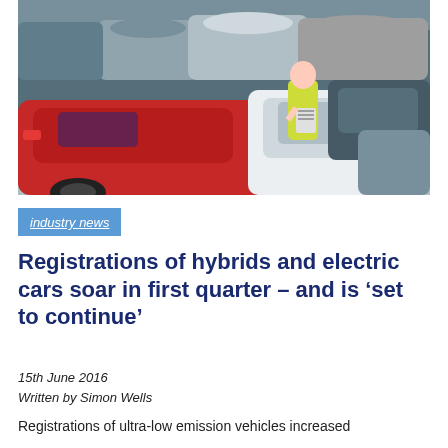[Figure (photo): A worker in a yellow high-visibility vest inspecting cars in a crowded car lot with multiple vehicles including a prominent red car in the foreground.]
industry news
Registrations of hybrids and electric cars soar in first quarter – and is 'set to continue'
15th June 2016
Written by Simon Wells
Registrations of ultra-low emission vehicles increased